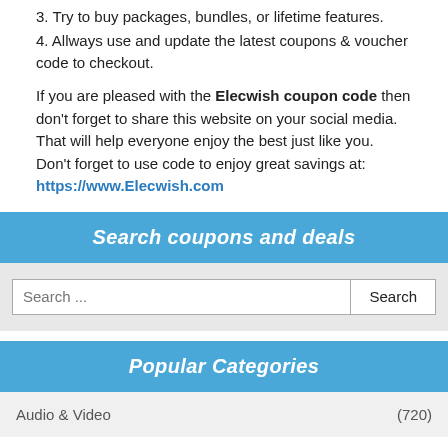3. Try to buy packages, bundles, or lifetime features.
4. Allways use and update the latest coupons & voucher code to checkout.
If you are pleased with the Elecwish coupon code then don't forget to share this website on your social media. That will help everyone enjoy the best just like you. Don't forget to use code to enjoy great savings at: https://www.Elecwish.com
Search coupons and deals
Search ...
Popular Categories
Audio & Video (720)